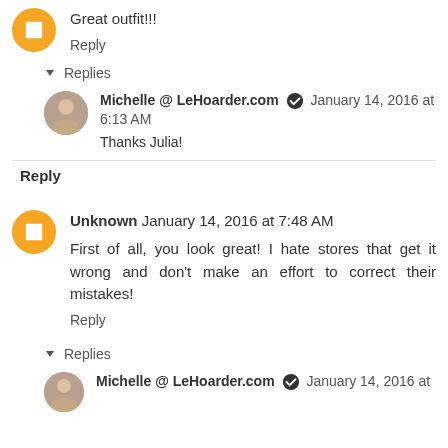Great outfit!!!
Reply
Replies
Michelle @ LeHoarder.com  January 14, 2016 at 6:13 AM
Thanks Julia!
Reply
Unknown  January 14, 2016 at 7:48 AM
First of all, you look great! I hate stores that get it wrong and don't make an effort to correct their mistakes!
Reply
Replies
Michelle @ LeHoarder.com  January 14, 2016 at